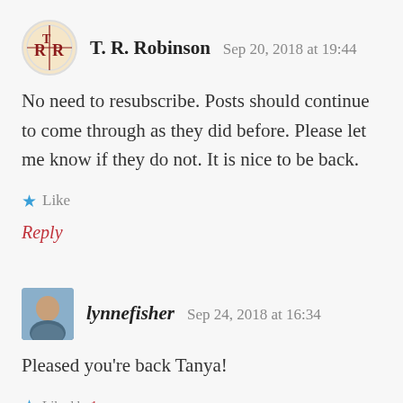T. R. Robinson   Sep 20, 2018 at 19:44
No need to resubscribe. Posts should continue to come through as they did before. Please let me know if they do not. It is nice to be back.
★ Like
Reply
lynnefisher   Sep 24, 2018 at 16:34
Pleased you're back Tanya!
★ Liked by 1 person